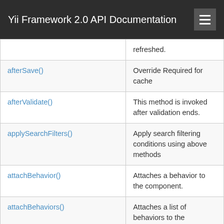Yii Framework 2.0 API Documentation
| Method | Description |
| --- | --- |
|  | refreshed. |
| afterSave() | Override Required for cache |
| afterValidate() | This method is invoked after validation ends. |
| applySearchFilters() | Apply search filtering conditions using above methods |
| attachBehavior() | Attaches a behavior to the component. |
| attachBehaviors() | Attaches a list of behaviors to the component. |
| attributeHints() | Returns the attribute hints |
| attributeLabels() |  |